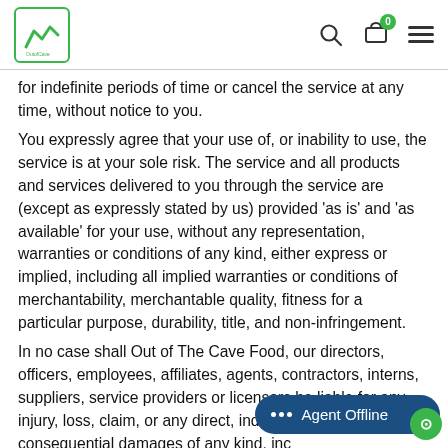Out of The Cave Food — Navigation header with logo, search, cart, and menu icons
for indefinite periods of time or cancel the service at any time, without notice to you.
You expressly agree that your use of, or inability to use, the service is at your sole risk. The service and all products and services delivered to you through the service are (except as expressly stated by us) provided 'as is' and 'as available' for your use, without any representation, warranties or conditions of any kind, either express or implied, including all implied warranties or conditions of merchantability, merchantable quality, fitness for a particular purpose, durability, title, and non-infringement.
In no case shall Out of The Cave Food, our directors, officers, employees, affiliates, agents, contractors, interns, suppliers, service providers or licensors be liable for any injury, loss, claim, or any direct, indirect, incident... consequential damages of any kind, inc...